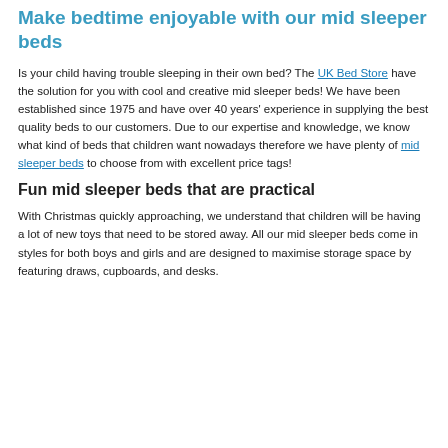Make bedtime enjoyable with our mid sleeper beds
Is your child having trouble sleeping in their own bed? The UK Bed Store have the solution for you with cool and creative mid sleeper beds! We have been established since 1975 and have over 40 years' experience in supplying the best quality beds to our customers. Due to our expertise and knowledge, we know what kind of beds that children want nowadays therefore we have plenty of mid sleeper beds to choose from with excellent price tags!
Fun mid sleeper beds that are practical
With Christmas quickly approaching, we understand that children will be having a lot of new toys that need to be stored away. All our mid sleeper beds come in styles for both boys and girls and are designed to maximise storage space by featuring draws, cupboards, and desks.